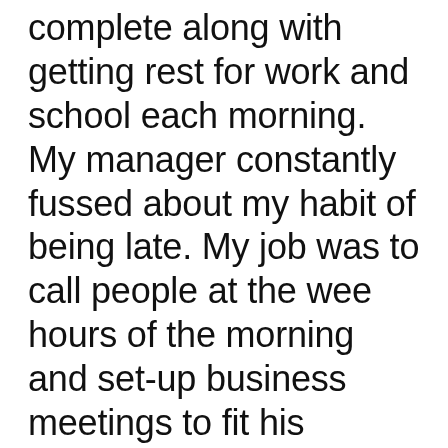and had homework to complete along with getting rest for work and school each morning. My manager constantly fussed about my habit of being late. My job was to call people at the wee hours of the morning and set-up business meetings to fit his schedule. I would complain to my manager about how early it was to call people. The exact words were “Business people are up and alarmed at 7am. It’s not too early to make calls.” That message has stuck with me till this day. Well, I couldn’t handle